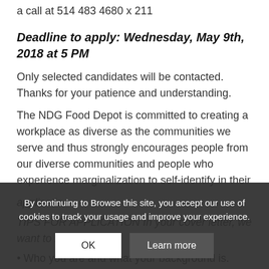a call at 514 483 4680 x 211
Deadline to apply: Wednesday, May 9th, 2018 at 5 PM
Only selected candidates will be contacted. Thanks for your patience and understanding.
The NDG Food Depot is committed to creating a workplace as diverse as the communities we serve and thus strongly encourages people from our diverse communities and people who experience marginalization to self-identify in their applicatio
TIPS FOR APPLICATION In your cover letter, we want to he
• Who you are and what your background is.
By continuing to Browse this site, you accept our use of cookies to track your usage and improve your experience.